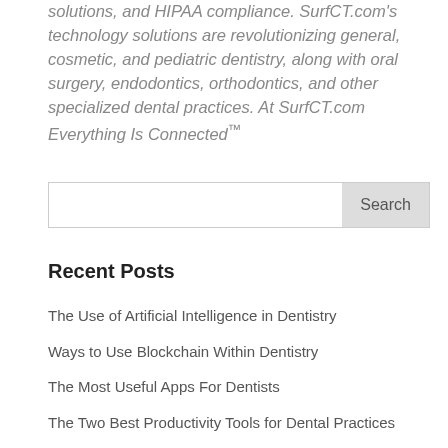solutions, and HIPAA compliance. SurfCT.com's technology solutions are revolutionizing general, cosmetic, and pediatric dentistry, along with oral surgery, endodontics, orthodontics, and other specialized dental practices. At SurfCT.com Everything Is Connected™
Recent Posts
The Use of Artificial Intelligence in Dentistry
Ways to Use Blockchain Within Dentistry
The Most Useful Apps For Dentists
The Two Best Productivity Tools for Dental Practices
When to Update Your Dental Technology